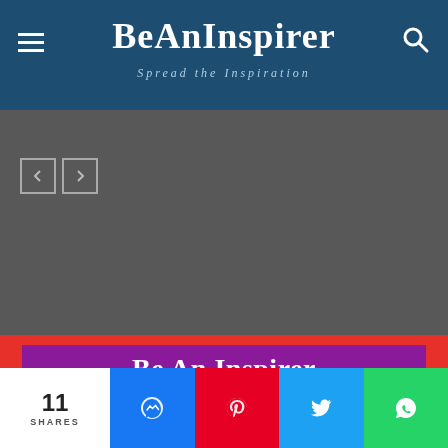BeAnInspirer — Spread the Inspiration
[Figure (screenshot): Slider navigation area with previous and next arrow buttons on grey background]
Be An Inspirer
About Us
Contact Us
Submit
Submitted Quotes
Privacy Policy
Terms and Conditions
[Figure (infographic): Social media icons: Facebook, Instagram, Pinterest, Twitter, YouTube]
PROTECTED BY COPYSCAPE DO NOT COPY
[Figure (photo): Partial photo of bicycle/scooter handlebars with advertisement overlay and Download text visible]
11 SHARES
[Figure (infographic): Share buttons bar: Messenger, Pinterest, Twitter, WhatsApp]